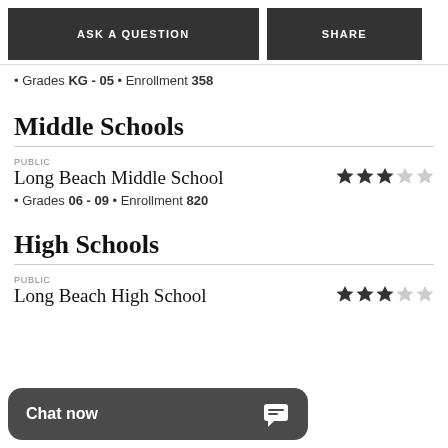ASK A QUESTION
SHARE
• Grades KG - 05 • Enrollment 358
Middle Schools
PUBLIC
Long Beach Middle School
• Grades 06 - 09 • Enrollment 820
High Schools
PUBLIC
Long Beach High School
Chat now